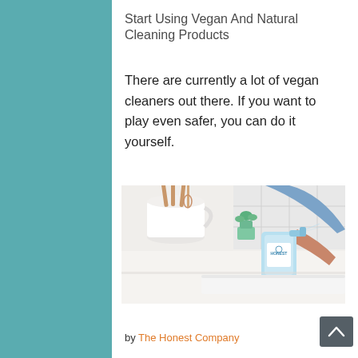Start Using Vegan And Natural Cleaning Products
There are currently a lot of vegan cleaners out there. If you want to play even safer, you can do it yourself.
[Figure (photo): Person spraying an Honest Company cleaning product onto a white cloth on a kitchen counter, with a white pitcher holding wooden utensils and a whisk in the background, and a small green plant.]
by The Honest Company